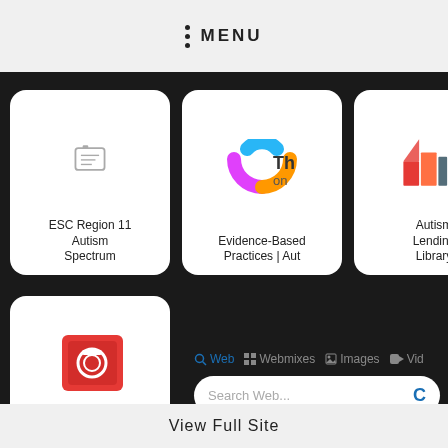MENU
[Figure (screenshot): A mobile browser interface showing a Symbaloo-style webmix page with educational tiles for autism spectrum resources. Top row tiles: ESC Region 11 Autism Spectrum, Evidence-Based Practices | Aut, Autism Lending Library, TSLA (Texas Statewide Leadership for Autism Training), and a partial tile (Resources TSLA). Second row: Preference Assessments | EBIP tile, and a search panel with Web/Webmixes/Images/Vid tabs and Search Web input. Third row (partial): NIMH News tile.]
View Full Site